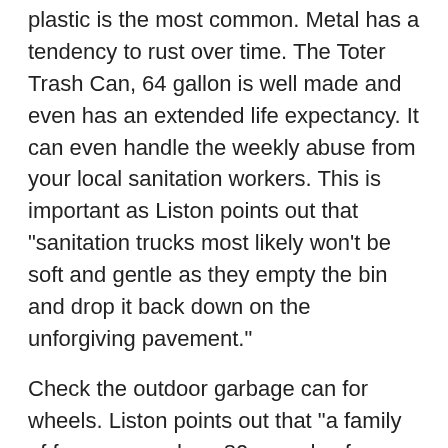plastic is the most common. Metal has a tendency to rust over time. The Toter Trash Can, 64 gallon is well made and even has an extended life expectancy. It can even handle the weekly abuse from your local sanitation workers. This is important as Liston points out that "sanitation trucks most likely won't be soft and gentle as they empty the bin and drop it back down on the unforgiving pavement."
Check the outdoor garbage can for wheels. Liston points out that "a family of four can produce 80 pounds of garbage per week. That's a heavy load!" She goes on to say that "choosing a garbage bin with wheels makes transporting trash to the end of your driveway and back a breeze." The Rubbermaid Trash Can, 50 Gallon is a good choice, as it has two back wheels with high-performance treads.
Lastly, you'll want to examine the trash can's lid to